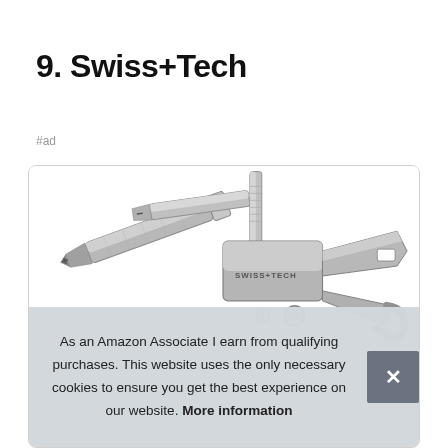9. Swiss+Tech
#ad
[Figure (photo): Swiss+Tech multi-tool shown disassembled with screwdriver bits, pliers/wrench component with SWISS+TECH branding visible on the metal body]
As an Amazon Associate I earn from qualifying purchases. This website uses the only necessary cookies to ensure you get the best experience on our website. More information